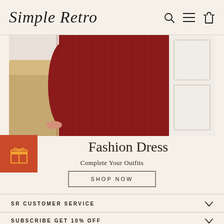Simple Retro
[Figure (photo): Close-up photo of a person wearing a ribbed dark red/burgundy knit dress, seated near a tan/beige couch with white wall paneling in the background.]
[Figure (illustration): Orange-red square badge with a gift box icon (orange bow and box outline).]
Fashion Dress
Complete Your Outfits
SHOP NOW
SR CUSTOMER SERVICE
SUBSCRIBE GET 10% OFF